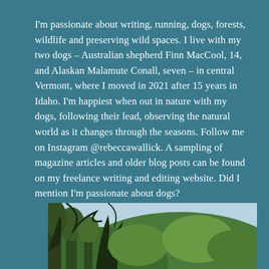I'm passionate about writing, running, dogs, forests, wildlife and preserving wild spaces. I live with my two dogs – Australian shepherd Finn MacCool, 14, and Alaskan Malamute Conall, seven – in central Vermont, where I moved in 2021 after 15 years in Idaho. I'm happiest when out in nature with my dogs, following their lead, observing the natural world as it changes through the seasons. Follow me on Instagram @rebeccawallick. A sampling of magazine articles and older blog posts can be found on my freelance writing and editing website. Did I mention I'm passionate about dogs?
[Figure (photo): Photograph of a forested hillside with trees in the foreground and a hill covered in green forest in the background under a light sky]